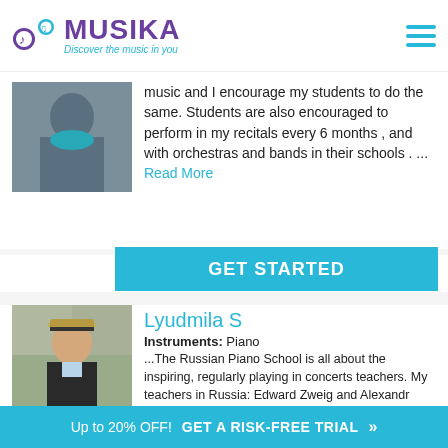[Figure (logo): Musika logo with musical note icon, purple MUSIKA text, and cyan tagline 'Discover the music in you']
music and I encourage my students to do the same. Students are also encouraged to perform in my recitals every 6 months , and with orchestras and bands in their schools .  ... Read More
GET STARTED
[Figure (photo): Photo of Lyudmila S wearing a hat, outdoors]
Lyudmila S
Instruments: Piano
...The Russian Piano School is all about the inspiring, regularly playing in concerts teachers. My teachers in Russia: Edward Zweig and Alexandr Benditsky were the concert pianists, composers, and their performing was the main point of attraction. ... Read More
GET STARTED
Up to 20% OFF!   GET A RISK-FREE TRIAL »